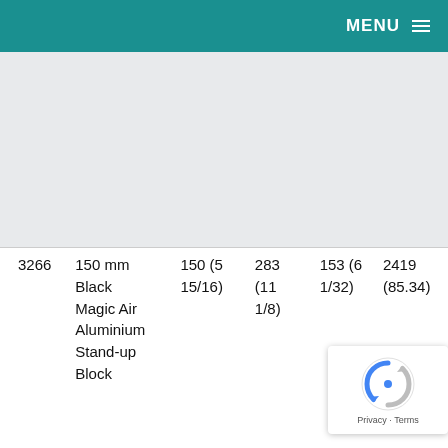MENU ☰
[Figure (photo): Product image area (light gray placeholder)]
| 3266 | 150 mm
Black
Magic Air
Aluminium
Stand-up
Block | 150 (5
15/16) | 283 (11
1/8) | 153 (6
1/32) | 2419
(85.34) |
[Figure (logo): reCAPTCHA badge with Privacy - Terms text]